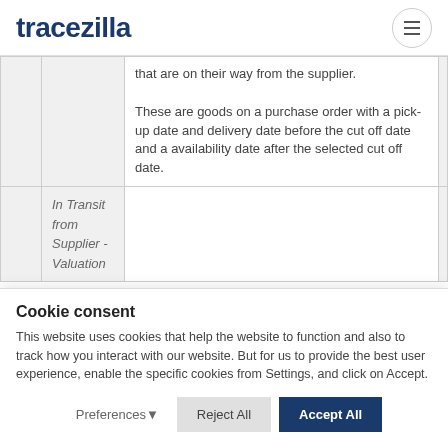tracezilla
|  | that are on their way from the supplier.

These are goods on a purchase order with a pick-up date and delivery date before the cut off date and a availability date after the selected cut off date. |
| In Transit from Supplier - Valuation |  |
Cookie consent
This website uses cookies that help the website to function and also to track how you interact with our website. But for us to provide the best user experience, enable the specific cookies from Settings, and click on Accept.
Preferences⌄   Reject All   Accept All